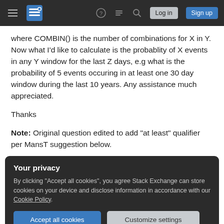Stack Exchange navigation bar with hamburger menu, logo, help, chat, search icons, Log in and Sign up buttons
where COMBIN() is the number of combinations for X in Y. Now what I'd like to calculate is the probablity of X events in any Y window for the last Z days, e.g what is the probability of 5 events occuring in at least one 30 day window during the last 10 years. Any assistance much appreciated.
Thanks
Note: Original question edited to add "at least" qualifier per MansT suggestion below.
Your privacy
By clicking "Accept all cookies", you agree Stack Exchange can store cookies on your device and disclose information in accordance with our Cookie Policy.
Accept all cookies  Customize settings